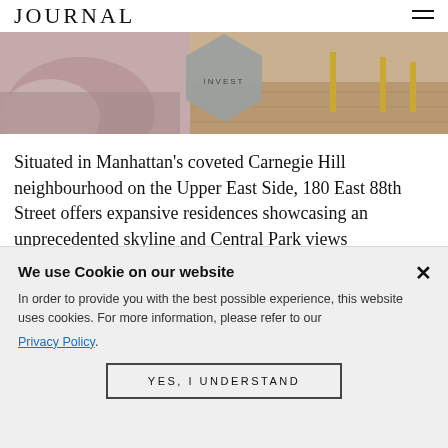JOURNAL
[Figure (photo): Interior room photo showing plush mauve/pink velvet chairs on the left and a hardwood floor with gold table legs on the right, overlaid with a grey hexagon badge reading INVEST]
Situated in Manhattan's coveted Carnegie Hill neighbourhood on the Upper East Side, 180 East 88th Street offers expansive residences showcasing an unprecedented skyline and Central Park views complemented by luxurious amenities.
B... (partial text cut off by cookie banner)
We use Cookie on our website
In order to provide you with the best possible experience, this website uses cookies. For more information, please refer to our Privacy Policy.
YES, I UNDERSTAND